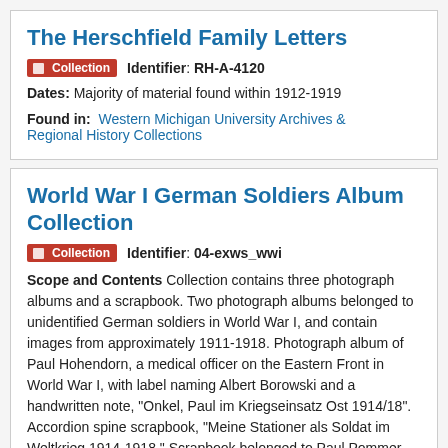The Herschfield Family Letters
Collection   Identifier: RH-A-4120
Dates: Majority of material found within 1912-1919
Found in:   Western Michigan University Archives & Regional History Collections
World War I German Soldiers Album Collection
Collection   Identifier: 04-exws_wwi
Scope and Contents Collection contains three photograph albums and a scrapbook. Two photograph albums belonged to unidentified German soldiers in World War I, and contain images from approximately 1911-1918. Photograph album of Paul Hohendorn, a medical officer on the Eastern Front in World War I, with label naming Albert Borowski and a handwritten note, "Onkel, Paul im Kriegseinsatz Ost 1914/18". Accordion spine scrapbook, "Meine Stationer als Soldat im Weltkrieg 1914-1918." Scrapbook belonged to Paul Pommer.